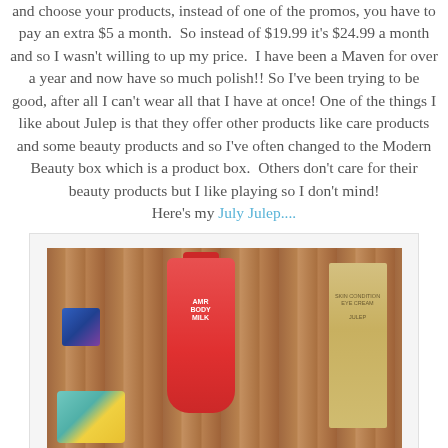and choose your products, instead of one of the promos, you have to pay an extra $5 a month. So instead of $19.99 it's $24.99 a month and so I wasn't willing to up my price. I have been a Maven for over a year and now have so much polish!! So I've been trying to be good, after all I can't wear all that I have at once! One of the things I like about Julep is that they offer other products like care products and some beauty products and so I've often changed to the Modern Beauty box which is a product box. Others don't care for their beauty products but I like playing so I don't mind! Here's my July Julep....
[Figure (photo): Photo of Julep beauty products on a wooden surface: a red body milk tube, a gold box (skin conditioner/eye cream), a small blue item, a teal/yellow card, and small candy pieces.]